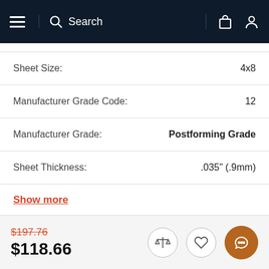Search
| Attribute | Value |
| --- | --- |
| Sheet Size: | 4x8 |
| Manufacturer Grade Code: | 12 |
| Manufacturer Grade: | Postforming Grade |
| Sheet Thickness: | .035" (.9mm) |
Show more
$197.76  $118.66